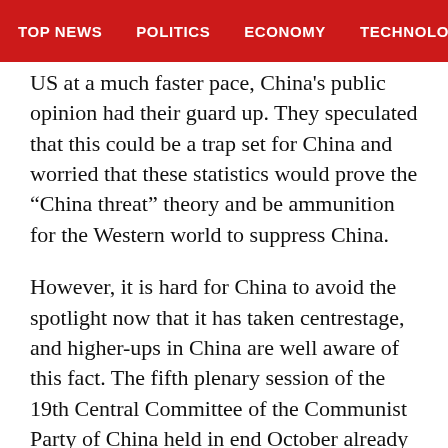TOP NEWS  POLITICS  ECONOMY  TECHNOLOG
US at a much faster pace, China's public opinion had their guard up. They speculated that this could be a trap set for China and worried that these statistics would prove the “China threat” theory and be ammunition for the Western world to suppress China.
However, it is hard for China to avoid the spotlight now that it has taken centrestage, and higher-ups in China are well aware of this fact. The fifth plenary session of the 19th Central Committee of the Communist Party of China held in end October already made the judgement that “the international power